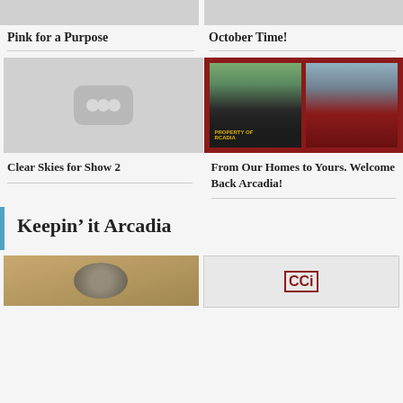[Figure (screenshot): Gray thumbnail placeholder at top left]
Pink for a Purpose
[Figure (screenshot): Gray thumbnail placeholder at top right]
October Time!
[Figure (screenshot): Gray YouTube-style placeholder icon with three dots]
Clear Skies for Show 2
[Figure (photo): Video thumbnail with two students side by side, darkred border frame, one wearing Arcadia shirt]
From Our Homes to Yours. Welcome Back Arcadia!
Keepin’ it Arcadia
[Figure (photo): Partial thumbnail at bottom left with tan/brown tones]
[Figure (screenshot): Partial thumbnail at bottom right with CCI logo]